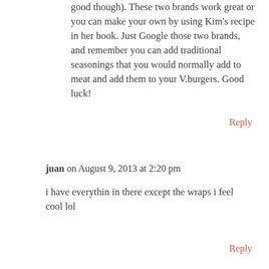good though). These two brands work great or you can make your own by using Kim's recipe in her book. Just Google those two brands, and remember you can add traditional seasonings that you would normally add to meat and add them to your V.burgers. Good luck!
Reply
juan on August 9, 2013 at 2:20 pm
i have everythin in there except the wraps i feel cool lol
Reply